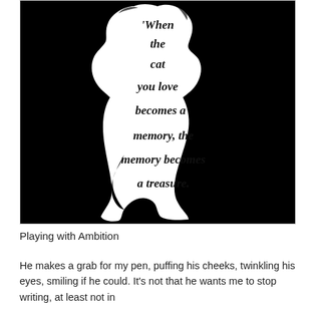[Figure (illustration): Black and white image of a white cat silhouette on a black background, with decorative blackletter/gothic text inside the cat shape reading: 'When the cat you love becomes a memory, the memory becomes a treasure.']
Playing with Ambition
He makes a grab for my pen, puffing his cheeks, twinkling his eyes, smiling if he could. It’s not that he wants me to stop writing, at least not in